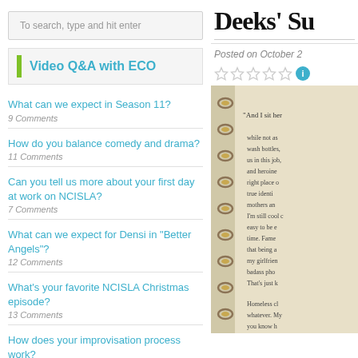To search, type and hit enter
Video Q&A with ECO
What can we expect in Season 11?
9 Comments
How do you balance comedy and drama?
11 Comments
Can you tell us more about your first day at work on NCISLA?
7 Comments
What can we expect for Densi in "Better Angels"?
12 Comments
What's your favorite NCISLA Christmas episode?
13 Comments
How does your improvisation process work?
12 Comments
Who are some of your dream guest stars for NCISLA?
Deeks' Su
Posted on October 2
[Figure (photo): A spiral-bound notebook page with handwritten text about identity, fame, and personal reflections. The notebook has metal spiral binding on the left side and text reads partial quotes about sitting, wash bottles, job, heroine, right place, true identity, mothers, cool, fame, girlfriend, badass, homeless.]